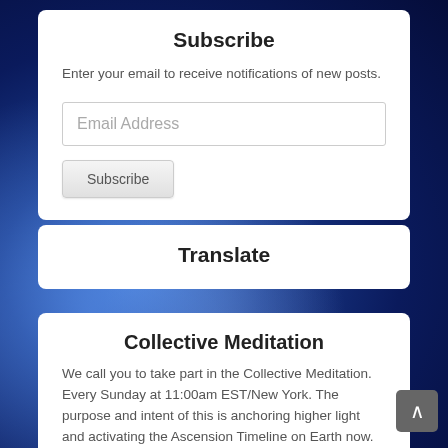Subscribe
Enter your email to receive notifications of new posts.
Email Address
Subscribe
Translate
Collective Meditation
We call you to take part in the Collective Meditation. Every Sunday at 11:00am EST/New York. The purpose and intent of this is anchoring higher light and activating the Ascension Timeline on Earth now. For